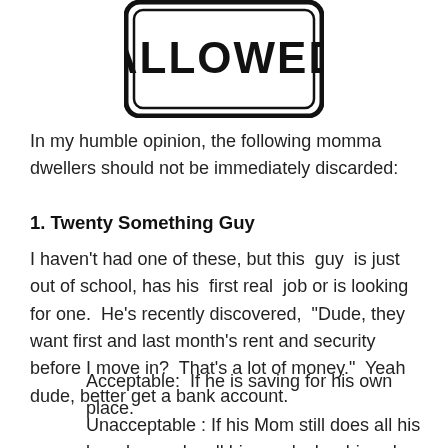[Figure (illustration): A road sign (white rectangular sign with black border and rounded corners) showing the word ALLOWED in large bold capital letters]
In my humble opinion, the following momma dwellers should not be immediately discarded:
1. Twenty Something Guy
I haven't had one of these, but this  guy  is just out of school, has his  first real  job or is looking for one.  He's recently discovered,  "Dude, they want first and last month's rent and security before I move in?  That's a lot of money."  Yeah dude, better get a bank account.
Acceptable:  If he is saving for his own place.
Unacceptable : If his Mom still does all his laundry, cooks all his meals, he drives her car and he routinely